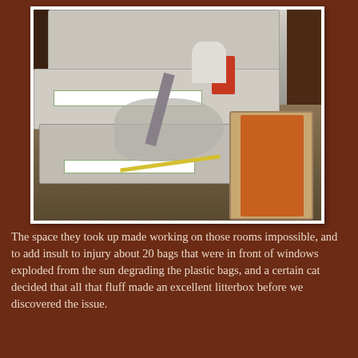[Figure (photo): Interior room photo showing stacked bags and boxes of insulation material piled on the left side, a worker or person crouching among the bags in the middle, a red canister, white roll, yellow hose on the floor, and a cart with orange material on the right side. The room has wood flooring and appears cluttered with renovation/insulation supplies.]
The space they took up made working on those rooms impossible, and to add insult to injury about 20 bags that were in front of windows exploded from the sun degrading the plastic bags, and a certain cat decided that all that fluff made an excellent litterbox before we discovered the issue.